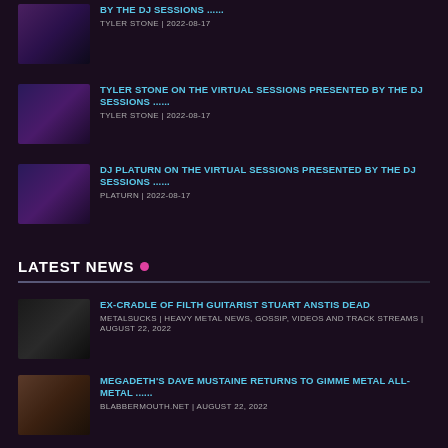BY THE DJ SESSIONS ...... TYLER STONE | 2022-08-17
TYLER STONE ON THE VIRTUAL SESSIONS PRESENTED BY THE DJ SESSIONS ...... TYLER STONE | 2022-08-17
DJ PLATURN ON THE VIRTUAL SESSIONS PRESENTED BY THE DJ SESSIONS ...... PLATURN | 2022-08-17
LATEST NEWS
EX-CRADLE OF FILTH GUITARIST STUART ANSTIS DEAD METALSUCKS | HEAVY METAL NEWS, GOSSIP, VIDEOS AND TRACK STREAMS | AUGUST 22, 2022
MEGADETH'S DAVE MUSTAINE RETURNS TO GIMME METAL ALL-METAL ...... BLABBERMOUTH.NET | AUGUST 22, 2022
LEE REVEALS VIRAL FULL FRONTAL NUDE POSTING CAME DURING ...... LOUDWIRE | AUGUST 22, 2022